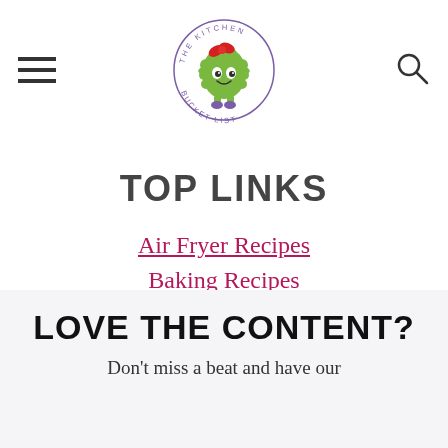The Kitchen Bucket List (logo)
TOP LINKS
Air Fryer Recipes
Baking Recipes
BBQ
LOVE THE CONTENT?
Don't miss a beat and have our